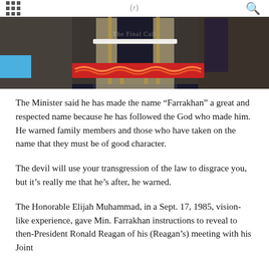[Figure (photo): Photo of a person at a podium, wearing dark clothing, in an ornate venue with decorative elements and red/gold patterned table covering. Watermark reads 'The Final Call'.]
The Minister said he has made the name “Farrakhan” a great and respected name because he has followed the God who made him. He warned family members and those who have taken on the name that they must be of good character.
The devil will use your transgression of the law to disgrace you, but it’s really me that he’s after, he warned.
The Honorable Elijah Muhammad, in a Sept. 17, 1985, vision-like experience, gave Min. Farrakhan instructions to reveal to then-President Ronald Reagan of his (Reagan’s) meeting with his Joint